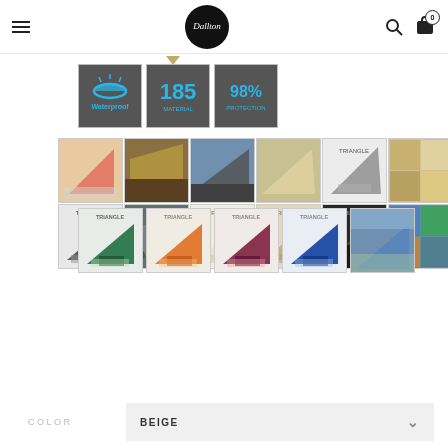Dallton store header with hamburger menu, logo, search and cart icons
[Figure (photo): Three feature badges: Waterproof (umbrella icon), 185 Material, 98% Protection]
[Figure (photo): Grid of 12 product thumbnail images showing triangle shade sails in various colors and settings]
[Figure (photo): Second row of 5 product thumbnails showing shade sails in green, orange, burgundy, blue colors and an installed photo]
COLOR
BEIGE